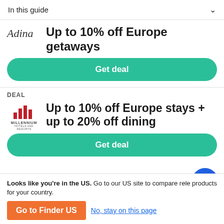In this guide
Up to 10% off Europe getaways
Get deal
DEAL
Up to 10% off Europe stays + up to 20% off dining
Get deal
Looks like you're in the US. Go to our US site to compare rele products for your country.
Go to Finder US
No, stay on this page